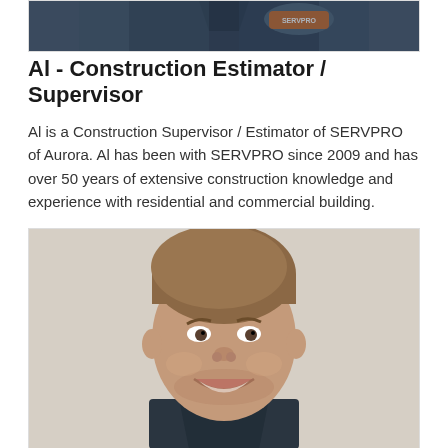[Figure (photo): Partial photo of a person wearing a dark navy SERVPRO uniform/polo shirt, cropped to show shoulders and chest area.]
Al - Construction Estimator / Supervisor
Al is a Construction Supervisor / Estimator of SERVPRO of Aurora. Al has been with SERVPRO since 2009 and has over 50 years of extensive construction knowledge and experience with residential and commercial building.
[Figure (photo): Headshot photo of a smiling man with short brown hair wearing a dark shirt, photographed against a light beige/grey background.]